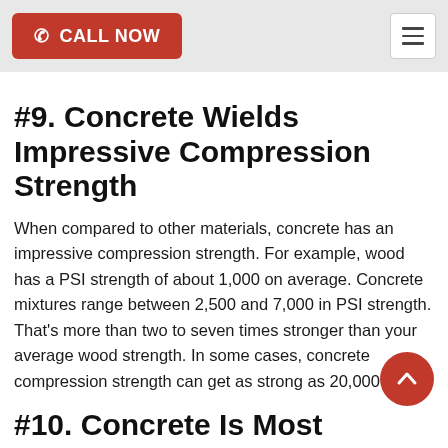CALL NOW
#9. Concrete Wields Impressive Compression Strength
When compared to other materials, concrete has an impressive compression strength. For example, wood has a PSI strength of about 1,000 on average. Concrete mixtures range between 2,500 and 7,000 in PSI strength. That's more than two to seven times stronger than your average wood strength. In some cases, concrete compression strength can get as strong as 20,000 PSI.
#10. Concrete Is Most Popular Material in the World
It may come as a surprise to discover that concrete is the